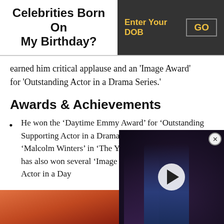Celebrities Born On My Birthday?
earned him critical applause and an 'Image Award' for 'Outstanding Actor in a Drama Series.'
Awards & Achievements
He won the ‘Daytime Emmy Award’ for ‘Outstanding Supporting Actor in a Drama Series’ for his portrayal of ‘Malcolm Winters’ in ‘The Young and the Restless.’ He has also won several ‘Image Awards’ for ‘Outstanding Actor in a Daytime Drama’ for the same show.
[Figure (photo): Video panel overlay showing dark figures in a scene, with a play button and close button]